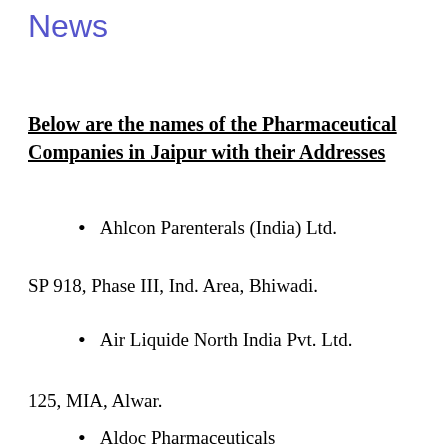News
Below are the names of the Pharmaceutical Companies in Jaipur with their Addresses
Ahlcon Parenterals (India) Ltd.
SP 918, Phase III, Ind. Area, Bhiwadi.
Air Liquide North India Pvt. Ltd.
125, MIA, Alwar.
Aldoc Pharmaceuticals